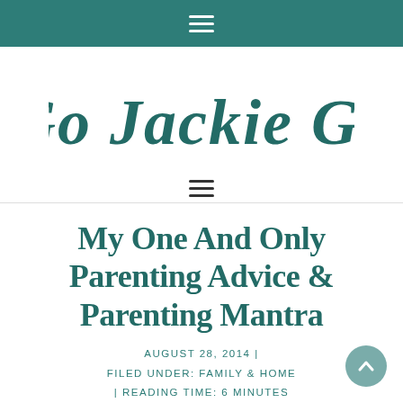≡ (navigation hamburger menu, teal background)
[Figure (logo): Go Jackie Go cursive script logo in teal/dark green color]
≡ (navigation hamburger menu, dark)
My One And Only Parenting Advice & Parenting Mantra
AUGUST 28, 2014 | FILED UNDER: FAMILY & HOME | READING TIME: 6 MINUTES